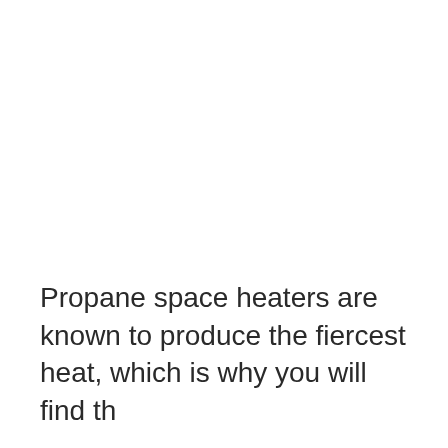Propane space heaters are known to produce the fiercest heat, which is why you will find the...